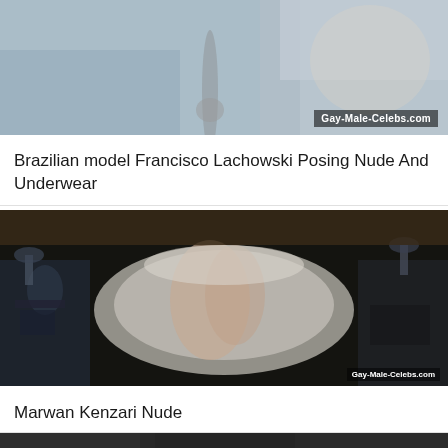[Figure (photo): Partial photo of shower/bathtub scene with jeans, gray and blue tones, watermark Gay-Male-Celebs.com]
Brazilian model Francisco Lachowski Posing Nude And Underwear
[Figure (photo): Overhead view of two people on a bed in a dark bedroom scene, watermark Gay-Male-Celebs.com]
Marwan Kenzari Nude
[Figure (photo): Partial view of another photo at the bottom of the page]